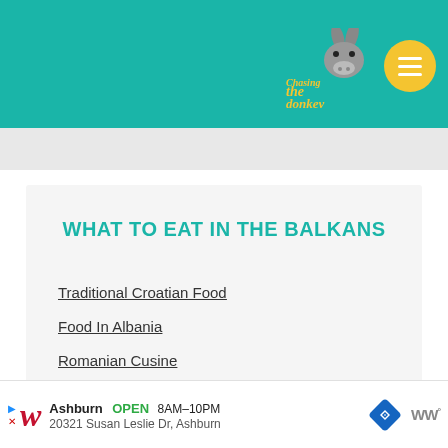[Figure (logo): Chasing the Donkey travel blog logo with donkey illustration and yellow menu circle button, on teal header background]
WHAT TO EAT IN THE BALKANS
Traditional Croatian Food
Food In Albania
Romanian Cusine
What Food To Try In Turkey
What To Eat In Greece
[Figure (advertisement): Walgreens advertisement: Ashburn OPEN 8AM-10PM, 20321 Susan Leslie Dr, Ashburn, with navigation and WW icons]